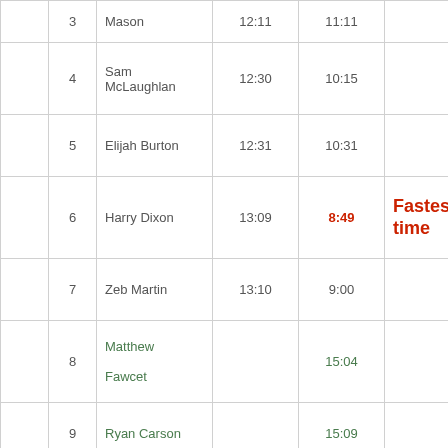|  | # | Name | Start | Time | Note |
| --- | --- | --- | --- | --- | --- |
|  | 3 | Mason | 12:11 | 11:11 |  |
|  | 4 | Sam McLaughlan | 12:30 | 10:15 |  |
|  | 5 | Elijah Burton | 12:31 | 10:31 |  |
|  | 6 | Harry Dixon | 13:09 | 8:49 | Fastest time |
|  | 7 | Zeb Martin | 13:10 | 9:00 |  |
|  | 8 | Matthew Fawcet |  | 15:04 |  |
|  | 9 | Ryan Carson |  | 15:09 |  |
|  |  |  |  |  |  |